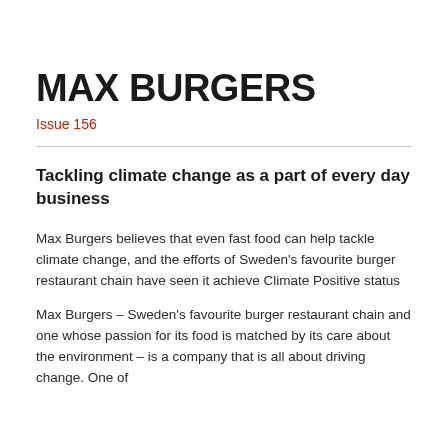MAX BURGERS
Issue 156
Tackling climate change as a part of every day business
Max Burgers believes that even fast food can help tackle climate change, and the efforts of Sweden's favourite burger restaurant chain have seen it achieve Climate Positive status
Max Burgers – Sweden's favourite burger restaurant chain and one whose passion for its food is matched by its care about the environment – is a company that is all about driving change. One of